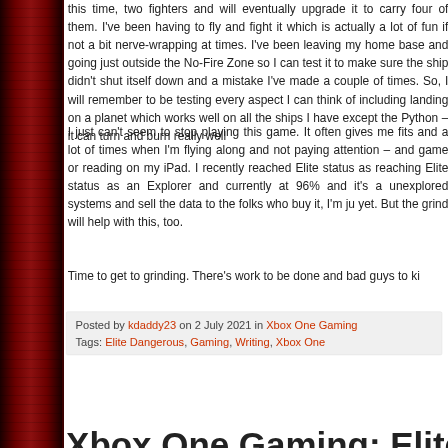this time, two fighters and will eventually upgrade it to carry four of them. I've been having to fly and fight it which is actually a lot of fun if not a bit nerve-wracking at times. I've been leaving my home base and going just outside the No-Fire Zone so I can test it to make sure the ship didn't shut itself down and a mistake I've made a couple of times. So, I will remember to be testing every aspect I can think of including landing on a planet which works well on all the ships I have except the Python – it can turn and burn really well
I just can't seem to stop playing this game. It often gives me fits and will crash on me a lot of times when I'm flying along and not paying attention – and then switching to another game or reading on my iPad. I recently reached Elite status as a Trader and I'm close to reaching Elite status as an Explorer and currently at 96% and it's all about going out to unexplored systems and sell the data to the folks who buy it, I'm just not there in earnings yet. But the grind will help with this, too.
Time to get to grinding. There's work to be done and bad guys to ki
Posted by kdaddy23 on 2 July 2021 in Xbox One Gaming
Tags: Elite Dangerous, Gaming, Writing, Xbox One
Xbox One Gaming: Elite Danger